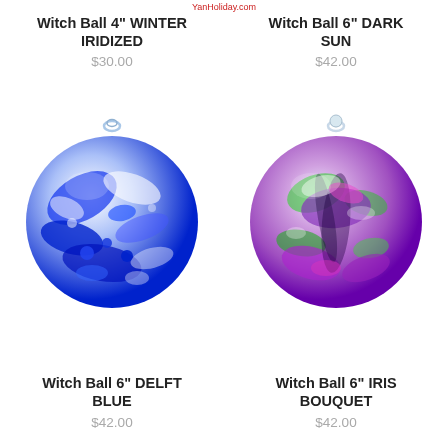YanHoliday.com
Witch Ball 4" WINTER IRIDIZED
$30.00
[Figure (photo): Blue and white swirled glass witch ball ornament with hanging loop, 4 inch]
Witch Ball 6" DARK SUN
$42.00
[Figure (photo): Purple, green, and white swirled glass witch ball ornament with hanging loop, 6 inch]
Witch Ball 6" DELFT BLUE
$42.00
Witch Ball 6" IRIS BOUQUET
$42.00